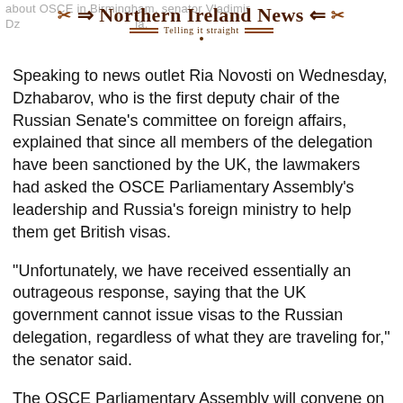Northern Ireland News – Telling it straight
Speaking to news outlet Ria Novosti on Wednesday, Dzhabarov, who is the first deputy chair of the Russian Senate's committee on foreign affairs, explained that since all members of the delegation have been sanctioned by the UK, the lawmakers had asked the OSCE Parliamentary Assembly's leadership and Russia's foreign ministry to help them get British visas.
"Unfortunately, we have received essentially an outrageous response, saying that the UK government cannot issue visas to the Russian delegation, regardless of what they are traveling for," the senator said.
The OSCE Parliamentary Assembly will convene on July 2 and will be in session until July 6.